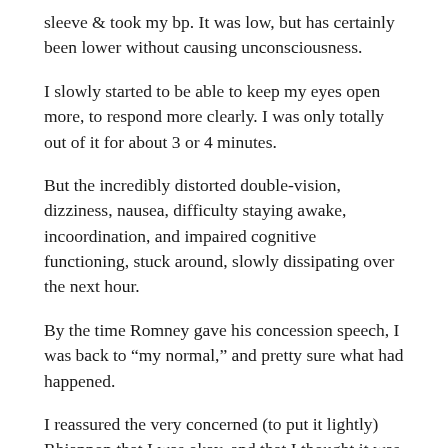sleeve & took my bp. It was low, but has certainly been lower without causing unconsciousness.
I slowly started to be able to keep my eyes open more, to respond more clearly. I was only totally out of it for about 3 or 4 minutes.
But the incredibly distorted double-vision, dizziness, nausea, difficulty staying awake, incoordination, and impaired cognitive functioning, stuck around, slowly dissipating over the next hour.
By the time Romney gave his concession speech, I was back to “my normal,” and pretty sure what had happened.
I reassured the very concerned (to put it lightly) Rhiannon that I was okay, and that I thought it was “just